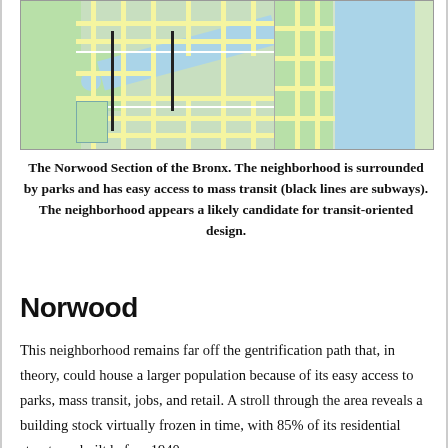[Figure (map): Map of the Norwood Section of the Bronx showing the neighborhood surrounded by parks, with black lines indicating subway routes and a river/water body visible.]
The Norwood Section of the Bronx. The neighborhood is surrounded by parks and has easy access to mass transit (black lines are subways). The neighborhood appears a likely candidate for transit-oriented design.
Norwood
This neighborhood remains far off the gentrification path that, in theory, could house a larger population because of its easy access to parks, mass transit, jobs, and retail. A stroll through the area reveals a building stock virtually frozen in time, with 85% of its residential structures built before 1940.